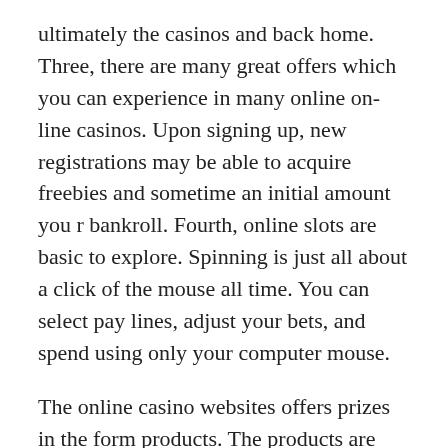ultimately the casinos and back home. Three, there are many great offers which you can experience in many online on-line casinos. Upon signing up, new registrations may be able to acquire freebies and sometime an initial amount you r bankroll. Fourth, online slots are basic to explore. Spinning is just all about a click of the mouse all time. You can select pay lines, adjust your bets, and spend using only your computer mouse.
The online casino websites offers prizes in the form products. The products are given by their manufacturer who advertises on expertise site. The few cash prizes happen to be in the way of cash bonuses which will make you to redeem that in the slot game itself. Use feel absolve to enjoy the thrills and excitement these free slots have stored for one without potential risk of going bankrupt because itrrrs very risk free. It is the safest and easiest option to the doorway of money. So visit the